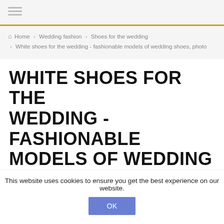Menu icon / navigation header bar
Home › Wedding fashion › Shoes for the wedding › White shoes for the wedding - fashionable models of wedding shoes, photo
WHITE SHOES FOR THE WEDDING - FASHIONABLE MODELS OF WEDDING SHOES, PHOTO
SHOES FOR THE WEDDING / BY KARINA
This website uses cookies to ensure you get the best experience on our website. OK